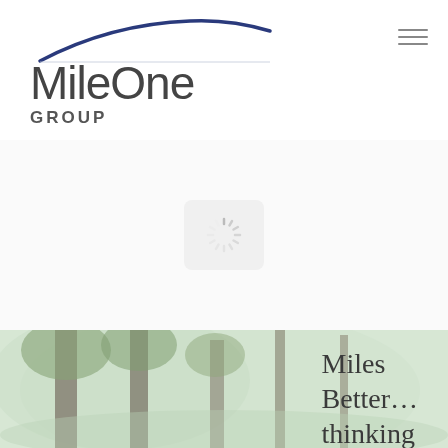[Figure (logo): MileOne Group logo with a curved navy/dark blue swoosh line above the wordmark]
MileOne GROUP
[Figure (other): Loading spinner icon displayed in a rounded rectangle box, indicating content loading]
[Figure (photo): Forest/woodland scene with trees and green foliage, partially faded]
Miles Better… thinking about tomorrow